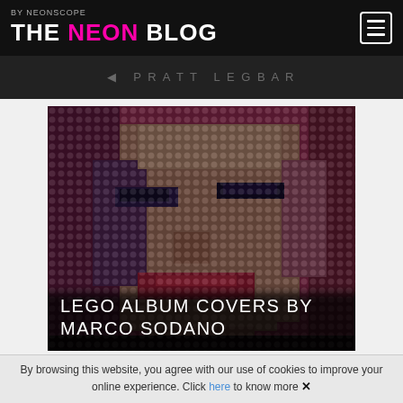THE NEON BLOG by Neonscope
[Figure (photo): Lego mosaic portrait of a woman's face with red lips and closed eyes, pixelated in Lego brick style with pink and red tones]
LEGO ALBUM COVERS BY MARCO SODANO
By browsing this website, you agree with our use of cookies to improve your online experience. Click here to know more ✕